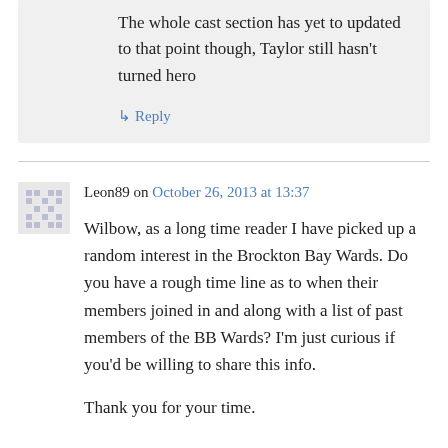The whole cast section has yet to updated to that point though, Taylor still hasn't turned hero
↳ Reply
Leon89 on October 26, 2013 at 13:37
Wilbow, as a long time reader I have picked up a random interest in the Brockton Bay Wards. Do you have a rough time line as to when their members joined in and along with a list of past members of the BB Wards? I'm just curious if you'd be willing to share this info.

Thank you for your time.